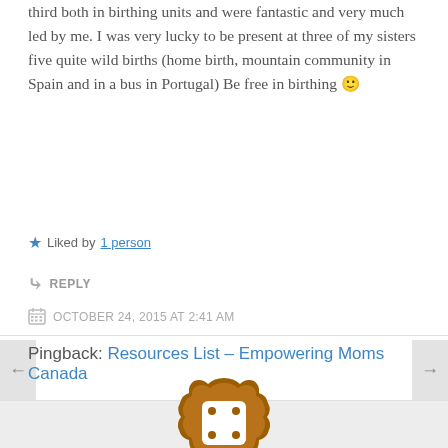third both in birthing units and were fantastic and very much led by me. I was very lucky to be present at three of my sisters five quite wild births (home birth, mountain community in Spain and in a bus in Portugal) Be free in birthing 🙂
★ Liked by 1 person
↳ REPLY
OCTOBER 24, 2015 AT 2:41 AM
Pingback: Resources List – Empowering Moms Canada
[Figure (logo): Brown badge/seal icon with four dots arranged in a square pattern inside a rounded square frame]